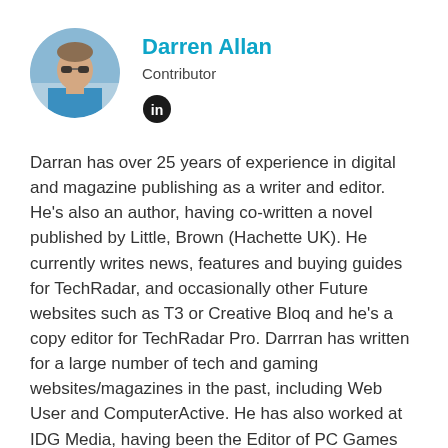[Figure (photo): Circular avatar photo of Darren Allan, a man with sunglasses wearing a blue shirt, outdoors.]
Darren Allan
Contributor
[Figure (logo): LinkedIn 'in' logo icon, black circle with white 'in' text.]
Darran has over 25 years of experience in digital and magazine publishing as a writer and editor. He's also an author, having co-written a novel published by Little, Brown (Hachette UK). He currently writes news, features and buying guides for TechRadar, and occasionally other Future websites such as T3 or Creative Bloq and he's a copy editor for TechRadar Pro. Darrran has written for a large number of tech and gaming websites/magazines in the past, including Web User and ComputerActive. He has also worked at IDG Media, having been the Editor of PC Games